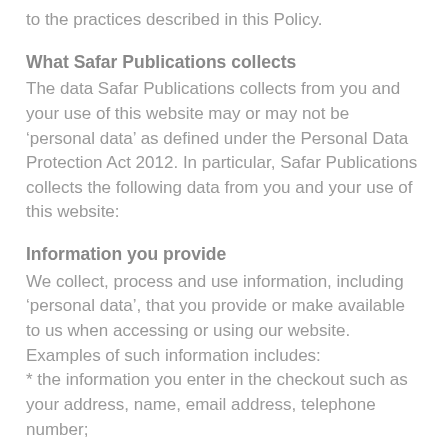to the practices described in this Policy.
What Safar Publications collects
The data Safar Publications collects from you and your use of this website may or may not be ‘personal data’ as defined under the Personal Data Protection Act 2012. In particular, Safar Publications collects the following data from you and your use of this website:
Information you provide
We collect, process and use information, including ‘personal data’, that you provide or make available to us when accessing or using our website. Examples of such information includes:
* the information you enter in the checkout such as your address, name, email address, telephone number;
Purposes for which Safar Publications collects,